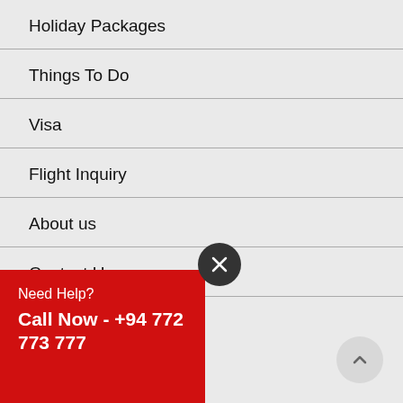Holiday Packages
Things To Do
Visa
Flight Inquiry
About us
Contact Us
Need Help?
Call Now - +94 772 773 777